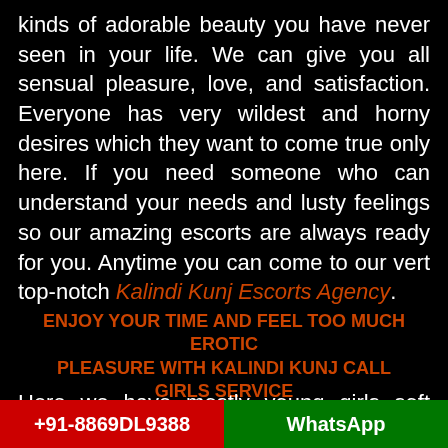kinds of adorable beauty you have never seen in your life. We can give you all sensual pleasure, love, and satisfaction. Everyone has very wildest and horny desires which they want to come true only here. If you need someone who can understand your needs and lusty feelings so our amazing escorts are always ready for you. Anytime you can come to our vert top-notch Kalindi Kunj Escorts Agency.
ENJOY YOUR TIME AND FEEL TOO MUCH EROTIC PLEASURE WITH KALINDI KUNJ CALL GIRLS SERVICE
Here we have mostly young girls soft chicks
+91-8869DL9388   WhatsApp